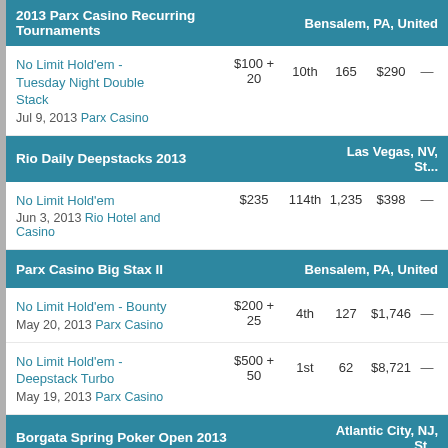2013 Parx Casino Recurring Tournaments — Bensalem, PA, United States
| Event | Buy-in | Place | Entries | Winnings |  |
| --- | --- | --- | --- | --- | --- |
| No Limit Hold'em - Tuesday Night Double Stack
Jul 9, 2013 Parx Casino | $100 + 20 | 10th | 165 | $290 | — |
Rio Daily Deepstacks 2013 — Las Vegas, NV, United States
| Event | Buy-in | Place | Entries | Winnings |  |
| --- | --- | --- | --- | --- | --- |
| No Limit Hold'em
Jun 3, 2013 Rio Hotel and Casino | $235 | 114th | 1,235 | $398 | — |
Parx Casino Big Stax II — Bensalem, PA, United States
| Event | Buy-in | Place | Entries | Winnings |  |
| --- | --- | --- | --- | --- | --- |
| No Limit Hold'em - Bounty
May 20, 2013 Parx Casino | $200 + 25 | 4th | 127 | $1,746 | — |
| No Limit Hold'em - Deepstack Turbo
May 19, 2013 Parx Casino | $500 + 50 | 1st | 62 | $8,721 | — |
Borgata Spring Poker Open 2013 — Atlantic City, NJ, United States